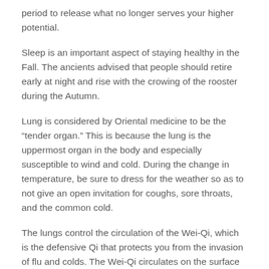period to release what no longer serves your higher potential.
Sleep is an important aspect of staying healthy in the Fall. The ancients advised that people should retire early at night and rise with the crowing of the rooster during the Autumn.
Lung is considered by Oriental medicine to be the “tender organ.” This is because the lung is the uppermost organ in the body and especially susceptible to wind and cold. During the change in temperature, be sure to dress for the weather so as to not give an open invitation for coughs, sore throats, and the common cold.
The lungs control the circulation of the Wei-Qi, which is the defensive Qi that protects you from the invasion of flu and colds. The Wei-Qi circulates on the surface between the skin and muscles and works to warm the body. If the Wei-Qi is weak, the skin and muscles will not